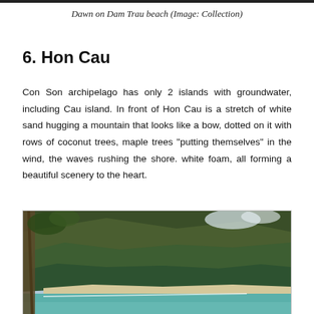Dawn on Dam Trau beach (Image: Collection)
6. Hon Cau
Con Son archipelago has only 2 islands with groundwater, including Cau island. In front of Hon Cau is a stretch of white sand hugging a mountain that looks like a bow, dotted on it with rows of coconut trees, maple trees “putting themselves” in the wind, the waves rushing the shore. white foam, all forming a beautiful scenery to the heart.
[Figure (photo): Aerial or scenic view of Hon Cau island showing dense green forested hillside/mountain, white sandy beach at the bottom, and turquoise sea water, with a palm tree trunk visible in the foreground.]